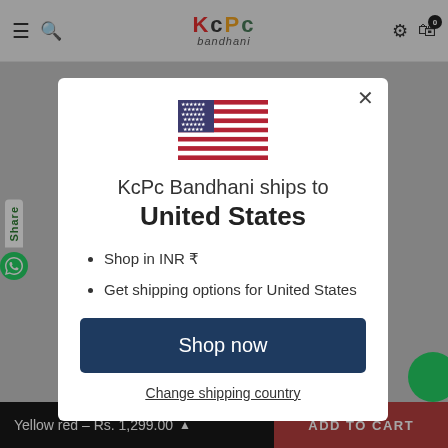KCPC Bandhani
[Figure (screenshot): Modal dialog on KCPC Bandhani e-commerce website showing shipping destination as United States with US flag, bullet points about INR currency and shipping options, Shop now button, and Change shipping country link]
KcPc Bandhani ships to United States
Shop in INR ₹
Get shipping options for United States
Shop now
Change shipping country
Yellow red – Rs. 1,299.00 ADD TO CART